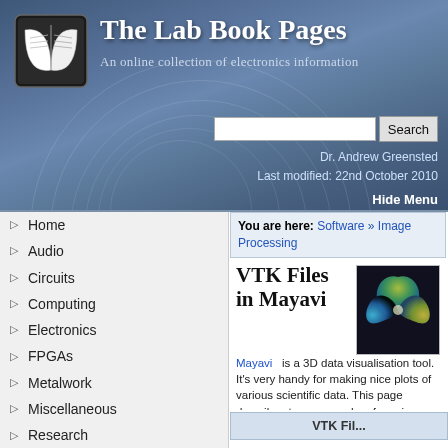The Lab Book Pages — An online collection of electronics information
Dr. Andrew Greensted
Last modified: 22nd October 2010
Hide Menu
Home
Audio
Circuits
Computing
Electronics
FPGAs
Metalwork
Miscellaneous
Research
Software
Bash Tips
Gnuplot
Java
Image Processing
You are here: Software » Image Processing
VTK Files in Mayavi
[Figure (illustration): Mayavi 3D visualization tool logo — a blue-green-yellow 3D curved surface shape on dark background]
Mayavi is a 3D data visualisation tool. It's very handy for making nice plots of various scientific data. This page describes two approaches for using Mayavi for displaying data generated outside the Mayavi API. The first uses a basic 'serial' file format, the second is a more up-to-date XML file format.
VTK Fil...